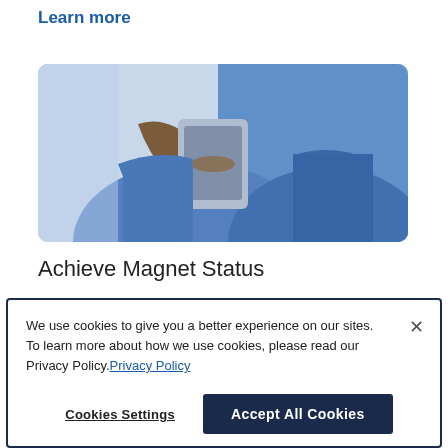Learn more
[Figure (photo): Two healthcare workers in blue scrubs, one holding a tablet device]
Achieve Magnet Status
We use cookies to give you a better experience on our sites. To learn more about how we use cookies, please read our Privacy Policy. Privacy Policy
Cookies Settings
Accept All Cookies